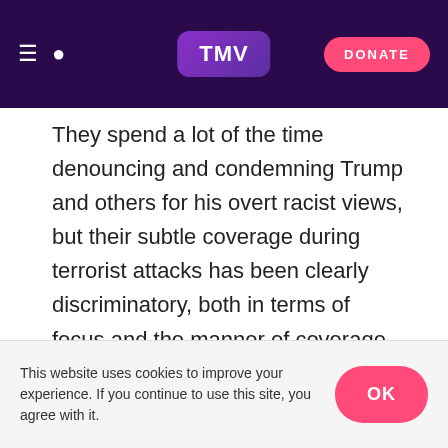TMV — DONATE
They spend a lot of the time denouncing and condemning Trump and others for his overt racist views, but their subtle coverage during terrorist attacks has been clearly discriminatory, both in terms of focus and the manner of coverage. And despite social media pointing this out every time, little has changed.
They helped generate the noise that made the public believe Muslims were the major cause of terrorism and the cover for the growing White Supremacist threat is now undeniable.
This website uses cookies to improve your experience. If you continue to use this site, you agree with it. OK